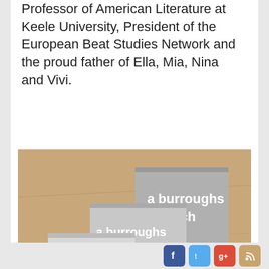Professor of American Literature at Keele University, President of the European Beat Studies Network and the proud father of Ella, Mia, Nina and Vivi.
[Figure (photo): Three copies of 'a burroughs triptych' by Alan Ansen arranged on a wooden surface, showing book covers with black and white photo of two men]
Facebook Twitter Google+ RSS social icons